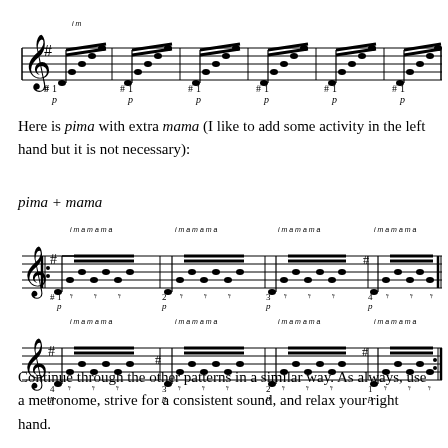[Figure (illustration): Sheet music showing a fingerpicking pattern in G major with p (thumb) bass notes and fingering indication, 6 measures repeating]
Here is pima with extra mama (I like to add some activity in the left hand but it is not necessary):
pima + mama
[Figure (illustration): Sheet music for pima + mama pattern, two rows of guitar notation with fingering labels i m a m a m a above notes, measures 1-4 then 4-1 repeating, with p bass notes and dynamics markings]
Continue through the other patterns in a similar way. As always, use a metronome, strive for a consistent sound, and relax your right hand.